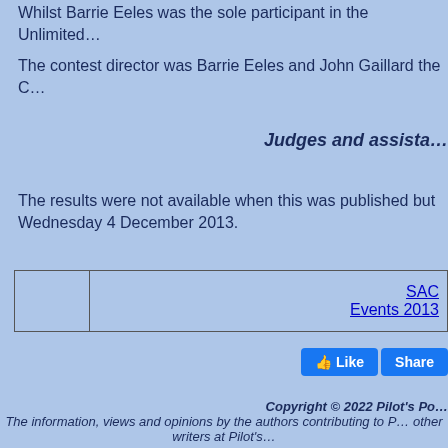Whilst Barrie Eeles was the sole participant in the Unlimited…
The contest director was Barrie Eeles and John Gaillard the C…
Judges and assista…
The results were not available when this was published but Wednesday 4 December 2013.
|  | SAC Events 2013 |
| --- | --- |
|  |
[Figure (screenshot): Facebook Like and Share buttons]
Copyright © 2022 Pilot's Po… The information, views and opinions by the authors contributing to P… other writers at Pilot's…